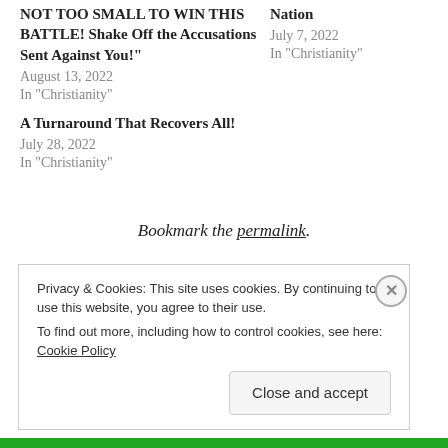NOT TOO SMALL TO WIN THIS BATTLE! Shake Off the Accusations Sent Against You!"
August 13, 2022
In "Christianity"
Nation
July 7, 2022
In "Christianity"
A Turnaround That Recovers All!
July 28, 2022
In "Christianity"
Bookmark the permalink.
Privacy & Cookies: This site uses cookies. By continuing to use this website, you agree to their use.
To find out more, including how to control cookies, see here: Cookie Policy
Close and accept